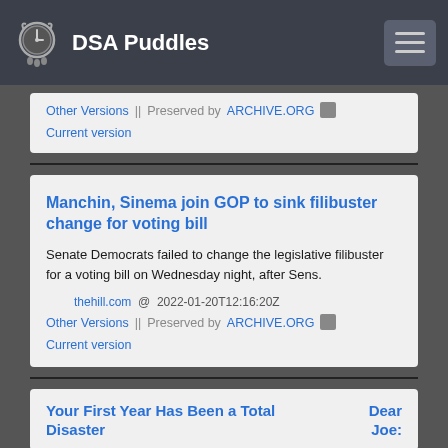DSA Puddles
Other Versions  ||  Preserved by ARCHIVE.ORG
Current version
Manchin, Sinema join GOP to sink filibuster change for voting bill
Senate Democrats failed to change the legislative filibuster for a voting bill on Wednesday night, after Sens.
thehill.com  @  2022-01-20T12:16:20Z
Other Versions  ||  Preserved by ARCHIVE.ORG
Current version
Dear Joe:
Your First Year Has Been a Total Disaster